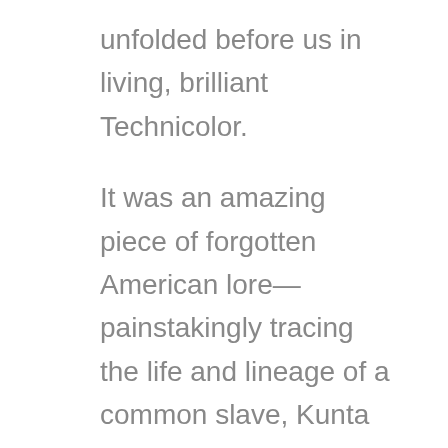unfolded before us in living, brilliant Technicolor.
It was an amazing piece of forgotten American lore— painstakingly tracing the life and lineage of a common slave, Kunta Kenti, from his capture in the African bush in 1750 and ending with his descendant, the Pulitzer Prize winning author Alex Haley— portrayed by James Earl Jones.  It seemed like every African-American movie star that was